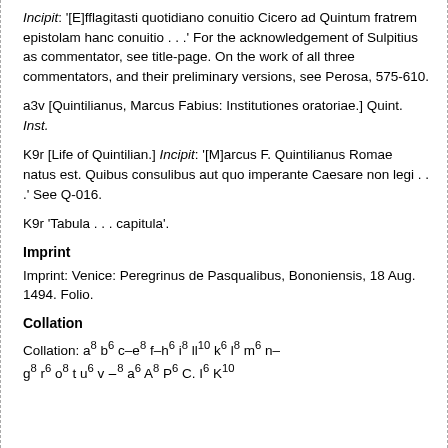Incipit: '[E]fflagitasti quotidiano conuitio Cicero ad Quintum fratrem epistolam hanc conuitio . . .' For the acknowledgement of Sulpitius as commentator, see title-page. On the work of all three commentators, and their preliminary versions, see Perosa, 575-610.
a3v [Quintilianus, Marcus Fabius: Institutiones oratoriae.] Quint. Inst.
K9r [Life of Quintilian.] Incipit: '[M]arcus F. Quintilianus Romae natus est. Quibus consulibus aut quo imperante Caesare non legi . . .' See Q-016.
K9r 'Tabula . . . capitula'.
Imprint
Imprint: Venice: Peregrinus de Pasqualibus, Bononiensis, 18 Aug. 1494. Folio.
Collation
Collation: a⁸ b⁶ c–e⁸ f–h⁶ i⁸ ll¹⁰ k⁶ l⁸ m⁶ n– g⁸ r⁶ o⁸ t u⁶ v ‒⁸ a⁶ A⁸ P⁶ C. I⁶ K¹⁰